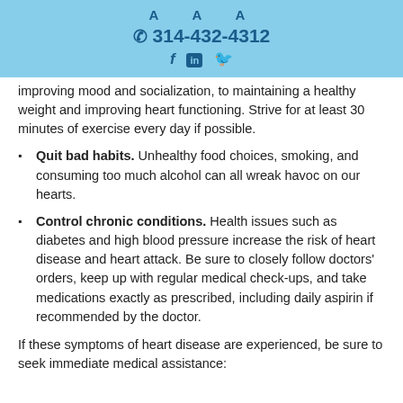A A A
✆ 314-432-4312
f in 🐦
improving mood and socialization, to maintaining a healthy weight and improving heart functioning. Strive for at least 30 minutes of exercise every day if possible.
Quit bad habits. Unhealthy food choices, smoking, and consuming too much alcohol can all wreak havoc on our hearts.
Control chronic conditions. Health issues such as diabetes and high blood pressure increase the risk of heart disease and heart attack. Be sure to closely follow doctors' orders, keep up with regular medical check-ups, and take medications exactly as prescribed, including daily aspirin if recommended by the doctor.
If these symptoms of heart disease are experienced, be sure to seek immediate medical assistance: